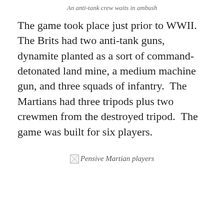An anti-tank crew waits in ambush
The game took place just prior to WWII.  The Brits had two anti-tank guns, dynamite planted as a sort of command-detonated land mine, a medium machine gun, and three squads of infantry.  The Martians had three tripods plus two crewmen from the destroyed tripod.  The game was built for six players.
[Figure (photo): Pensive Martian players (broken/missing image)]